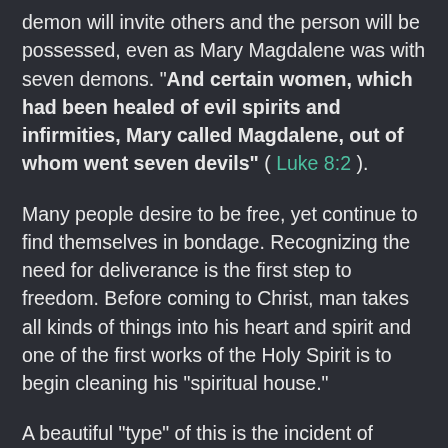demon will invite others and the person will be possessed, even as Mary Magdalene was with seven demons. "And certain women, which had been healed of evil spirits and infirmities, Mary called Magdalene, out of whom went seven devils" ( Luke 8:2 ).
Many people desire to be free, yet continue to find themselves in bondage. Recognizing the need for deliverance is the first step to freedom. Before coming to Christ, man takes all kinds of things into his heart and spirit and one of the first works of the Holy Spirit is to begin cleaning his "spiritual house."
A beautiful "type" of this is the incident of Jesus cleansing the temple that had been defiled by those who were wicked.